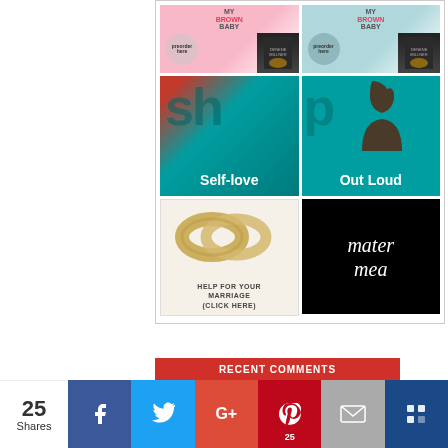[Figure (illustration): Grid of 6 advertisement images: two 'My Brown Baby' book pre-order ads (pink/teal), 'Shop Self-love' teal ad, 'Shop Out Loud' teal ad with silhouette, 'Help For Your Marriage (Click Here)' with wedding rings, and 'mater mea' black logo]
[Figure (infographic): Social share bar with count of 25 shares, Facebook, Twitter, Google+, Pinterest (25), email, and Bloglovin buttons]